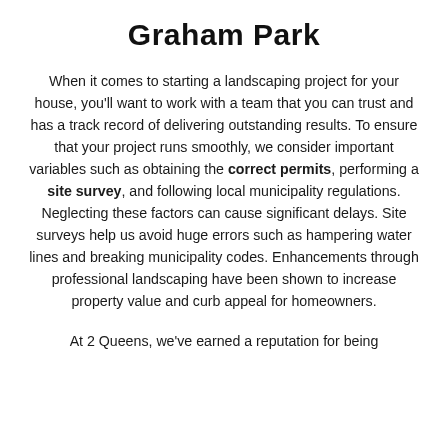Graham Park
When it comes to starting a landscaping project for your house, you'll want to work with a team that you can trust and has a track record of delivering outstanding results. To ensure that your project runs smoothly, we consider important variables such as obtaining the correct permits, performing a site survey, and following local municipality regulations. Neglecting these factors can cause significant delays. Site surveys help us avoid huge errors such as hampering water lines and breaking municipality codes. Enhancements through professional landscaping have been shown to increase property value and curb appeal for homeowners.
At 2 Queens, we've earned a reputation for being